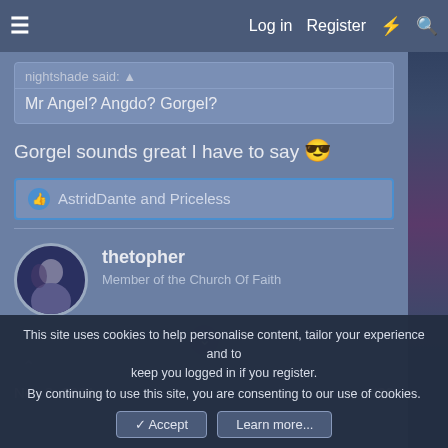Log in  Register
nightshade said:
Mr Angel? Angdo? Gorgel?
Gorgel sounds great I have to say 😎
AstridDante and Priceless
thetopher
Member of the Church Of Faith
Nov 8, 2021  #39
This site uses cookies to help personalise content, tailor your experience and to keep you logged in if you register.
By continuing to use this site, you are consenting to our use of cookies.
✓ Accept   Learn more...